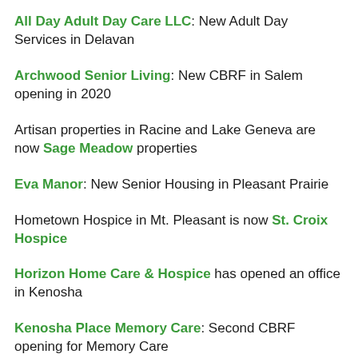All Day Adult Day Care LLC: New Adult Day Services in Delavan
Archwood Senior Living: New CBRF in Salem opening in 2020
Artisan properties in Racine and Lake Geneva are now Sage Meadow properties
Eva Manor: New Senior Housing in Pleasant Prairie
Hometown Hospice in Mt. Pleasant is now St. Croix Hospice
Horizon Home Care & Hospice has opened an office in Kenosha
Kenosha Place Memory Care: Second CBRF opening for Memory Care